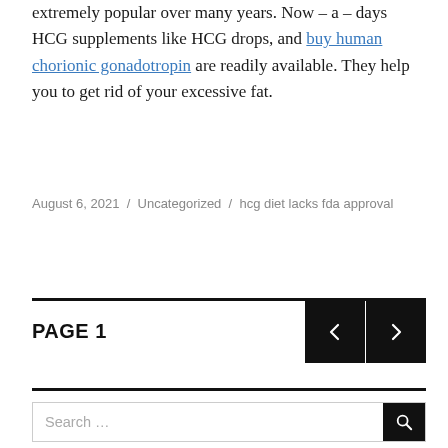extremely popular over many years. Now – a – days HCG supplements like HCG drops, and buy human chorionic gonadotropin are readily available. They help you to get rid of your excessive fat.
August 6, 2021 / Uncategorized / hcg diet lacks fda approval
PAGE 1
Search ...